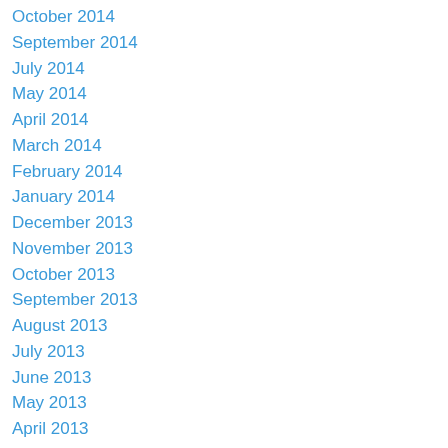October 2014
September 2014
July 2014
May 2014
April 2014
March 2014
February 2014
January 2014
December 2013
November 2013
October 2013
September 2013
August 2013
July 2013
June 2013
May 2013
April 2013
March 2013
February 2013
January 2013
December 2012